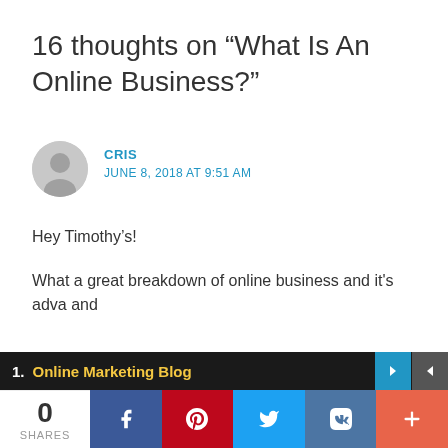16 thoughts on “What Is An Online Business?”
CRIS
JUNE 8, 2018 AT 9:51 AM
Hey Timothy’s!
What a great breakdown of online business and it's adva and
1. Online Marketing Blog
0 SHARES